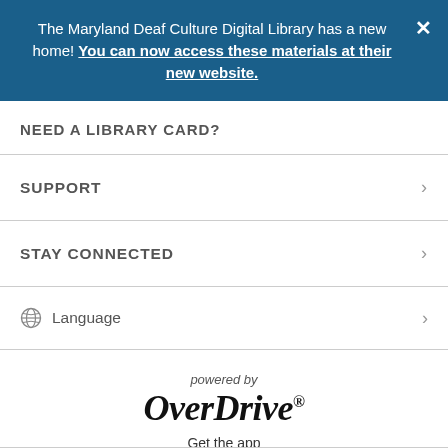The Maryland Deaf Culture Digital Library has a new home! You can now access these materials at their new website.
NEED A LIBRARY CARD?
SUPPORT
STAY CONNECTED
Language
powered by OverDrive® Get the app